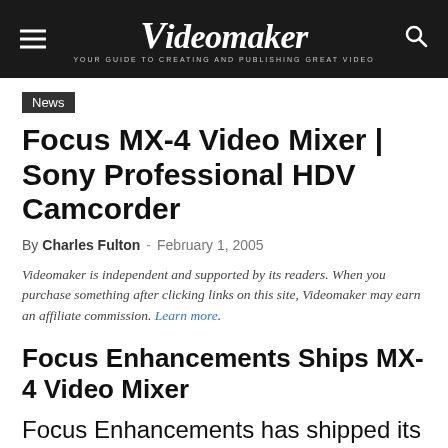Videomaker — YOUR GUIDE TO CREATING AND PUBLISHING GREAT VIDEO
News
Focus MX-4 Video Mixer | Sony Professional HDV Camcorder
By Charles Fulton - February 1, 2005
Videomaker is independent and supported by its readers. When you purchase something after clicking links on this site, Videomaker may earn an affiliate commission. Learn more.
Focus Enhancements Ships MX-4 Video Mixer
Focus Enhancements has shipped its new